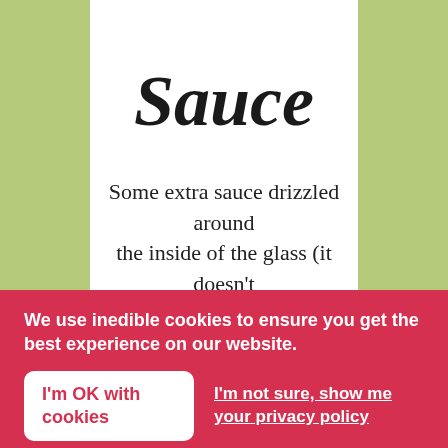Sauce
Some extra sauce drizzled around the inside of the glass (it doesn't
We use inedible cookies to ensure you get the best experience on our website.
I'm OK with cookies
I'm not sure, show me your privacy policy